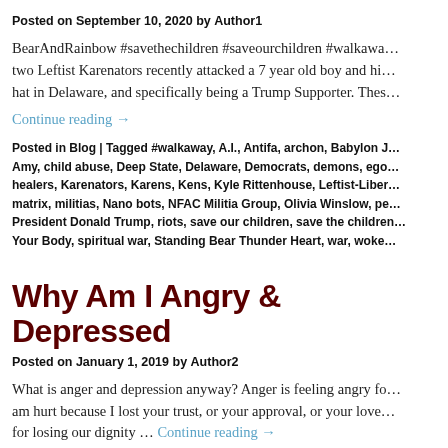Posted on September 10, 2020 by Author1
BearAndRainbow #savethechildren #saveourchildren #walkawa… two Leftist Karenators recently attacked a 7 year old boy and hi… hat in Delaware, and specifically being a Trump Supporter. Thes…
Continue reading →
Posted in Blog | Tagged #walkaway, A.I., Antifa, archon, Babylon J… Amy, child abuse, Deep State, Delaware, Democrats, demons, ego… healers, Karenators, Karens, Kens, Kyle Rittenhouse, Leftist-Liber… matrix, militias, Nano bots, NFAC Militia Group, Olivia Winslow, pe… President Donald Trump, riots, save our children, save the children… Your Body, spiritual war, Standing Bear Thunder Heart, war, woke…
Why Am I Angry & Depressed
Posted on January 1, 2019 by Author2
What is anger and depression anyway? Anger is feeling angry fo… am hurt because I lost your trust, or your approval, or your love… for losing our dignity … Continue reading →